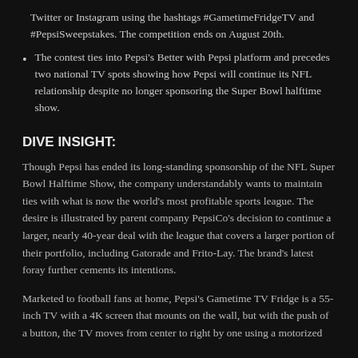while they will be watching the action on Twitter or Instagram using the hashtags #GametimeFridgeTV and #PepsiSweepstakes. The competition ends on August 20th.
The contest ties into Pepsi's Better with Pepsi platform and precedes two national TV spots showing how Pepsi will continue its NFL relationship despite no longer sponsoring the Super Bowl halftime show.
DIVE INSIGHT:
Though Pepsi has ended its long-standing sponsorship of the NFL Super Bowl Halftime Show, the company understandably wants to maintain ties with what is now the world's most profitable sports league. The desire is illustrated by parent company PepsiCo's decision to continue a larger, nearly 40-year deal with the league that covers a larger portion of their portfolio, including Gatorade and Frito-Lay. The brand's latest foray further cements its intentions.
Marketed to football fans at home, Pepsi's Gametime TV Fridge is a 55-inch TV with a 4K screen that mounts on the wall, but with the push of a button, the TV moves from center to right by one using a motorized